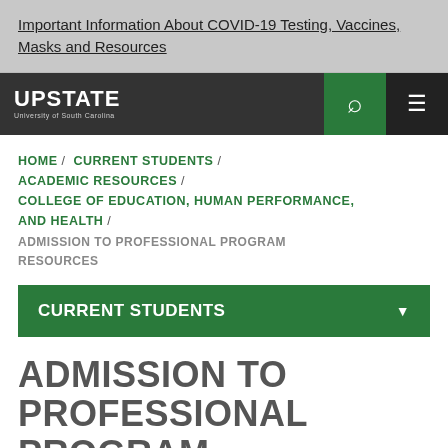Important Information About COVID-19 Testing, Vaccines, Masks and Resources
UPSTATE University of South Carolina
HOME / CURRENT STUDENTS / ACADEMIC RESOURCES / COLLEGE OF EDUCATION, HUMAN PERFORMANCE, AND HEALTH / ADMISSION TO PROFESSIONAL PROGRAM RESOURCES
CURRENT STUDENTS
ADMISSION TO PROFESSIONAL PROGRAM